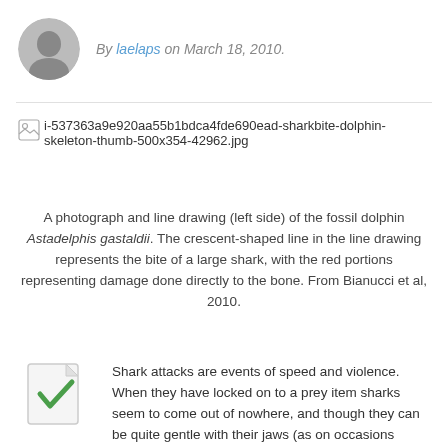By laelaps on March 18, 2010.
[Figure (photo): Broken image placeholder for shark bite dolphin skeleton thumbnail: i-537363a9e920aa55b1bdca4fde690ead-sharkbite-dolphin-skeleton-thumb-500x354-42962.jpg]
A photograph and line drawing (left side) of the fossil dolphin Astadelphis gastaldii. The crescent-shaped line in the line drawing represents the bite of a large shark, with the red portions representing damage done directly to the bone. From Bianucci et al, 2010.
Shark attacks are events of speed and violence. When they have locked on to a prey item sharks seem to come out of nowhere, and though they can be quite gentle with their jaws (as on occasions